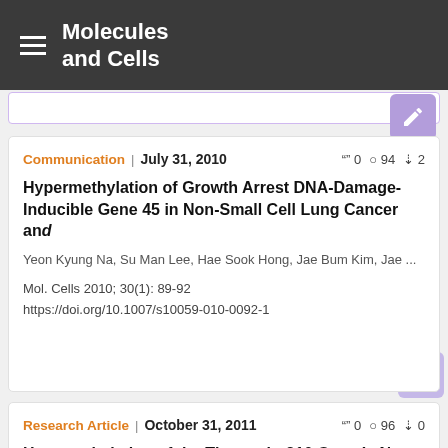Molecules and Cells
Communication | July 31, 2010  0  94  2
Hypermethylation of Growth Arrest DNA-Damage-Inducible Gene 45 in Non-Small Cell Lung Cancer and
Yeon Kyung Na, Su Man Lee, Hae Sook Hong, Jae Bum Kim, Jae ...
Mol. Cells 2010; 30(1): 89-92
https://doi.org/10.1007/s10059-010-0092-1
Research Article | October 31, 2011  0  96  0
Hypomethylation of the Thymosin β10 Gene Is Not Associated with Its Overexpression in Non-Small Cell